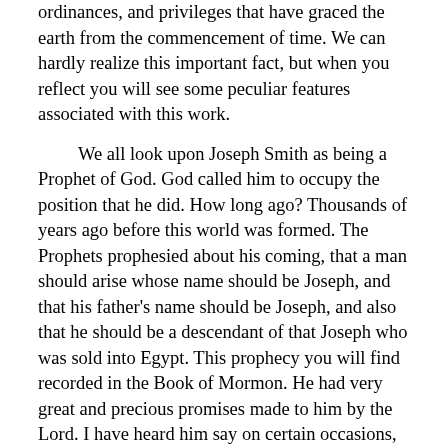ordinances, and privileges that have graced the earth from the commencement of time. We can hardly realize this important fact, but when you reflect you will see some peculiar features associated with this work.
We all look upon Joseph Smith as being a Prophet of God. God called him to occupy the position that he did. How long ago? Thousands of years ago before this world was formed. The Prophets prophesied about his coming, that a man should arise whose name should be Joseph, and that his father's name should be Joseph, and also that he should be a descendant of that Joseph who was sold into Egypt. This prophecy you will find recorded in the Book of Mormon. He had very great and precious promises made to him by the Lord. I have heard him say on certain occasions, "You do not know who I am." The world did not like him. The world did not like either the Savior, or the Prophets; they have never liked revealed truth; and it is as much as a bargain for the Saints even to bear the truth.
In the commencement of the work, the Father and the Son appeared to Joseph Smith. And when they appeared to him, the Father, pointing to the Son, said, "This is my beloved Son, hear him." As much as to say, "I have not come to teach and instruct you; but I refer you to my Only Begotten, who is the Mediator of